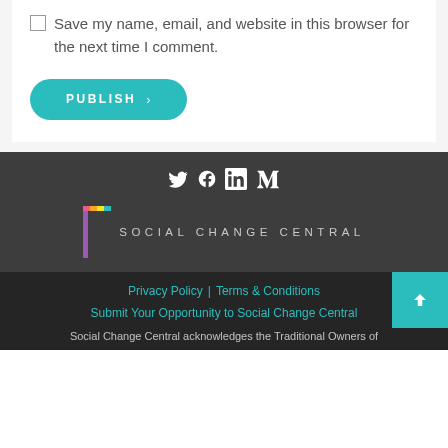Save my name, email, and website in this browser for the next time I comment.
[Figure (other): Teal PUBLISH button with right arrow]
[Figure (logo): Social Change Central logo with colorful bracket and text on dark background with social media icons (Twitter, Facebook, LinkedIn, Medium)]
Privacy Policy | Terms & Conditions
Submit Your Opportunity to Social Change Central
Social Change Central acknowledges the Traditional Owners of